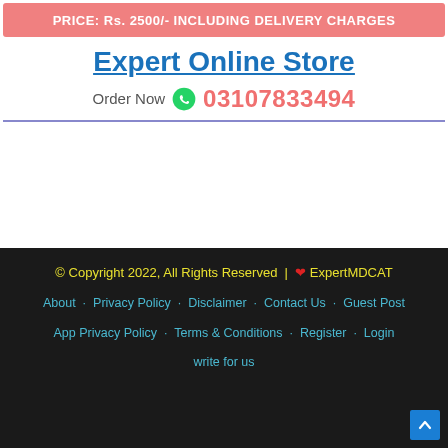PRICE: Rs. 2500/- INCLUDING DELIVERY CHARGES
Expert Online Store
Order Now  03107833494
© Copyright 2022, All Rights Reserved | ❤ ExpertMDCAT
About | Privacy Policy | Disclaimer | Contact Us | Guest Post | App Privacy Policy | Terms & Conditions | Register | Login | write for us